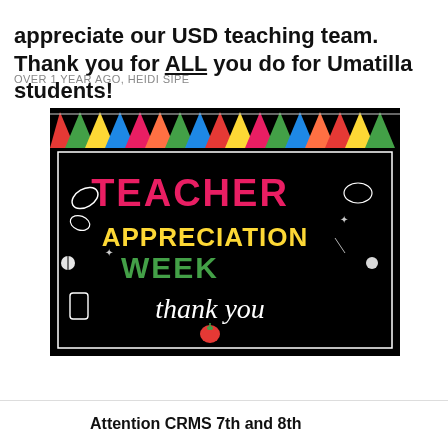appreciate our USD teaching team. Thank you for ALL you do for Umatilla students!
OVER 1 YEAR AGO, HEIDI SIPE
[Figure (illustration): Teacher Appreciation Week graphic on black background with colorful pennant banner at top. Large text reads 'TEACHER' in pink/magenta, 'APPRECIATION' in yellow, 'WEEK' in green, and 'thank you' in white cursive script with a red apple icon. Chalk-style doodles of school items surround the text.]
Attention CRMS 7th and 8th